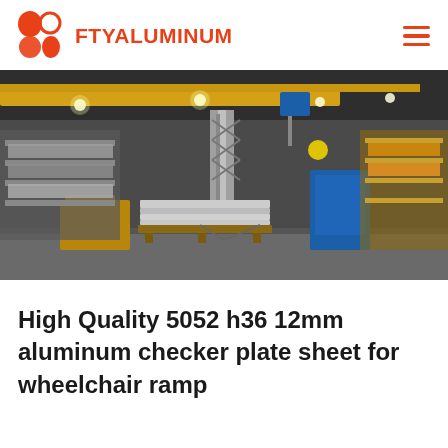FTYALUMINUM
[Figure (photo): Industrial aluminum manufacturing warehouse with overhead crane, metal sheets stacked on pallets, industrial machinery and shelving racks visible in background]
High Quality 5052 h36 12mm aluminum checker plate sheet for wheelchair ramp